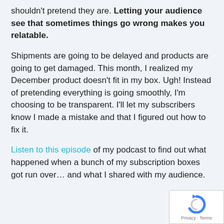shouldn't pretend they are. Letting your audience see that sometimes things go wrong makes you relatable.
Shipments are going to be delayed and products are going to get damaged. This month, I realized my December product doesn't fit in my box. Ugh! Instead of pretending everything is going smoothly, I'm choosing to be transparent. I'll let my subscribers know I made a mistake and that I figured out how to fix it.
Listen to this episode of my podcast to find out what happened when a bunch of my subscription boxes got run over… and what I shared with my audience.